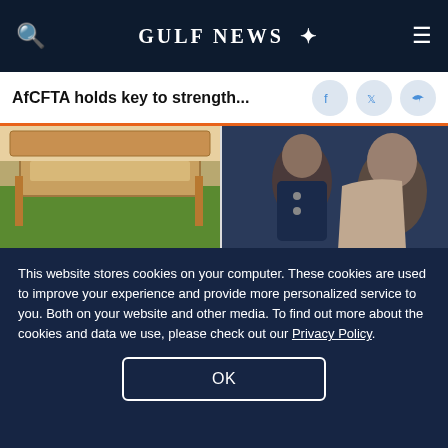GULF NEWS
AfCFTA holds key to strength...
[Figure (photo): Close-up photo of gutters on a house roof with green lawn visible below]
Do This Instead of Cleaning Gutters (It's Genius)
LeafFilter Partner | Sponsored
[Figure (photo): Bollywood actor Ranbir Kapoor with wife Alia Bhatt at an event]
Bollywood actor Ranbir Kapoor apologises for making a joke about wife Alia Bhatt
This website stores cookies on your computer. These cookies are used to improve your experience and provide more personalized service to you. Both on your website and other media. To find out more about the cookies and data we use, please check out our Privacy Policy.